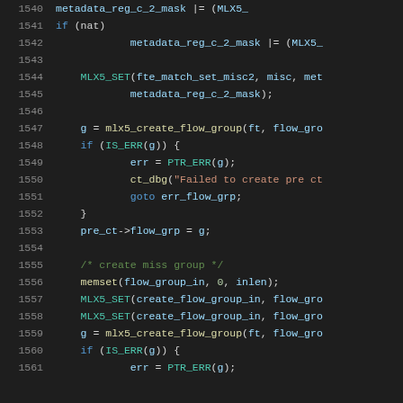[Figure (screenshot): Source code listing in a dark-themed code editor showing C code lines 1540-1561 with syntax highlighting. Line numbers in grey, keywords in blue, function names in yellow, string literals in orange, macros in teal, comments in green.]